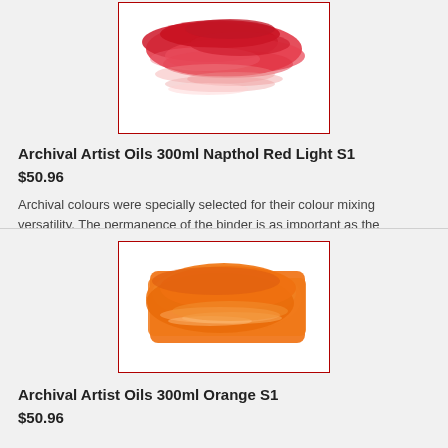[Figure (photo): Paint swatch of Napthol Red Light artist oil paint — red brushstroke on white background inside a dark red border box]
Archival Artist Oils 300ml Napthol Red Light S1
$50.96
Archival colours were specially selected for their colour mixing versatility. The permanence of the binder is as important as the permanence of the pigments used in artists paints.Paintings done with Archival Oils do not...
[Figure (photo): Paint swatch of Orange artist oil paint — orange brushstroke on white background inside a dark red border box]
Archival Artist Oils 300ml Orange S1
$50.96